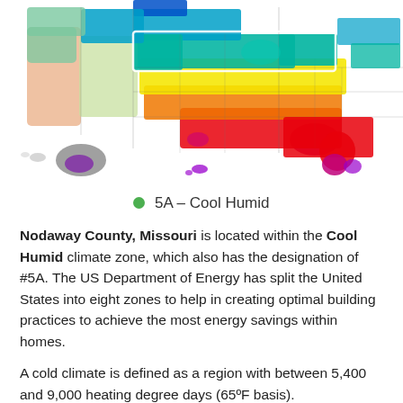[Figure (map): US climate zone map showing different regions color-coded by climate zone. Zone 5A (Cool Humid) is highlighted in teal/green color covering parts of the northern-central US including Missouri. Alaska shown in gray/purple in lower left, Hawaii shown in purple. Color zones range from purple (zone 1, hot) through red, orange, yellow, green, teal, to dark purple for coldest zones.]
5A – Cool Humid
Nodaway County, Missouri is located within the Cool Humid climate zone, which also has the designation of #5A. The US Department of Energy has split the United States into eight zones to help in creating optimal building practices to achieve the most energy savings within homes.
A cold climate is defined as a region with between 5,400 and 9,000 heating degree days (65ºF basis).